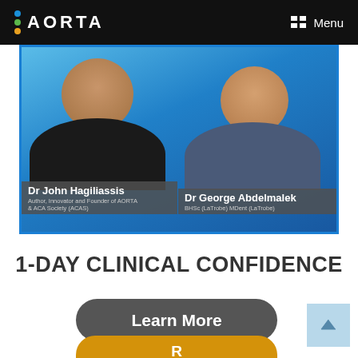AORTA  Menu
[Figure (photo): Photo of two doctors: Dr John Hagiliassis (Author, Innovator and Founder of AORTA & ACA Society (ACAS)) on the left, and Dr George Abdelmalek (BHSc (LaTrobe) MDent (LaTrobe)) on the right, against a blue background.]
1-DAY CLINICAL CONFIDENCE
Learn More
Register